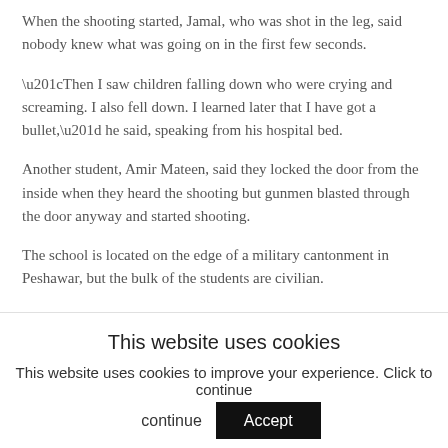When the shooting started, Jamal, who was shot in the leg, said nobody knew what was going on in the first few seconds.
“Then I saw children falling down who were crying and screaming. I also fell down. I learned later that I have got a bullet,” he said, speaking from his hospital bed.
Another student, Amir Mateen, said they locked the door from the inside when they heard the shooting but gunmen blasted through the door anyway and started shooting.
The school is located on the edge of a military cantonment in Peshawar, but the bulk of the students are civilian.
This website uses cookies
This website uses cookies to improve your experience. Click to continue
Accept